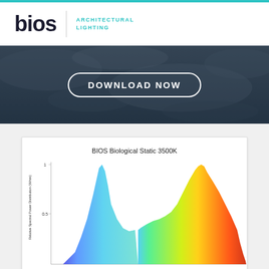[Figure (logo): BIOS Architectural Lighting logo with teal text]
[Figure (infographic): Dark blue/grey banner with earth satellite imagery background and a DOWNLOAD NOW button with rounded white border]
[Figure (continuous-plot): BIOS Biological Static 3500K spectral power distribution chart showing a rainbow-colored spectral curve with a blue peak around 450nm and a large warm orange/red peak around 600-650nm. Y-axis labeled 'Relative Spectral Power Distribution (W/nm)' with values 0.5 and 1 visible.]